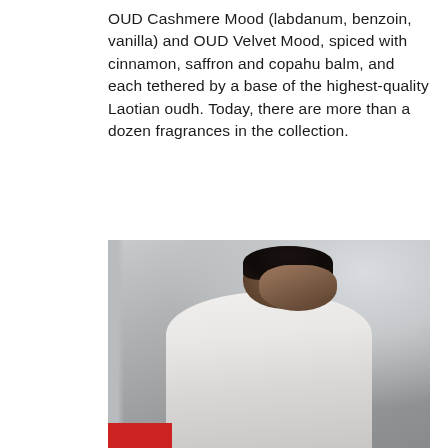OUD Cashmere Mood (labdanum, benzoin, vanilla) and OUD Velvet Mood, spiced with cinnamon, saffron and copahu balm, and each tethered by a base of the highest-quality Laotian oudh. Today, there are more than a dozen fragrances in the collection.
[Figure (photo): A man in a white shirt leaning forward, photographed indoors near a window, with soft natural light coming from behind.]